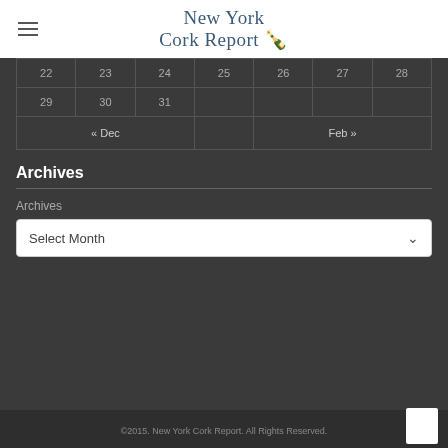New York Cork Report
| 22 | 23 | 24 | 25 | 26 | 27 | 28 |
| 29 | 30 | 31 |  |  |  |  |
| « Dec |  |  |  |  | Feb » |  |
Archives
Archives
Select Month
©2015. New York Cork Report. All Rights Reserved.